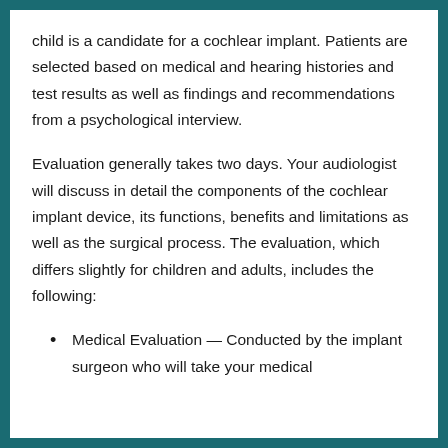child is a candidate for a cochlear implant. Patients are selected based on medical and hearing histories and test results as well as findings and recommendations from a psychological interview.
Evaluation generally takes two days. Your audiologist will discuss in detail the components of the cochlear implant device, its functions, benefits and limitations as well as the surgical process. The evaluation, which differs slightly for children and adults, includes the following:
Medical Evaluation — Conducted by the implant surgeon who will take your medical